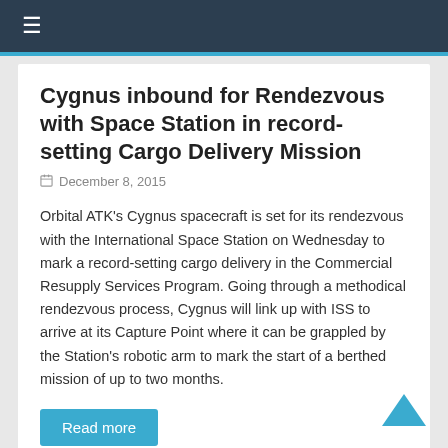≡
Cygnus inbound for Rendezvous with Space Station in record-setting Cargo Delivery Mission
December 8, 2015
Orbital ATK's Cygnus spacecraft is set for its rendezvous with the International Space Station on Wednesday to mark a record-setting cargo delivery in the Commercial Resupply Services Program. Going through a methodical rendezvous process, Cygnus will link up with ISS to arrive at its Capture Point where it can be grappled by the Station's robotic arm to mark the start of a berthed mission of up to two months.
Read more